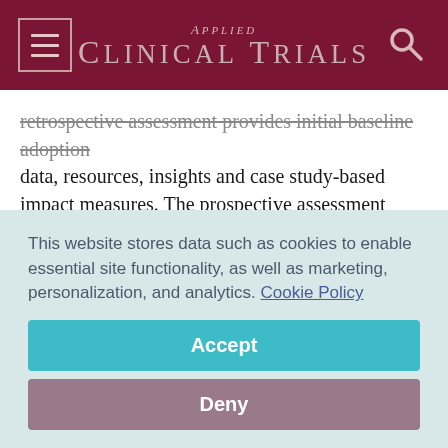Applied Clinical Trials
retrospective assessment provides initial baseline adoption data, resources, insights and case study-based impact measures. The prospective assessment offers a financial modeling framework that sponsors can systematically apply and test to inform their decisions to invest in and support patient engagement initiatives. Combined, these two studies may help alleviate the headwinds that many organizations are encountering.
This website stores data such as cookies to enable essential site functionality, as well as marketing, personalization, and analytics. Cookie Policy
Accept
Deny